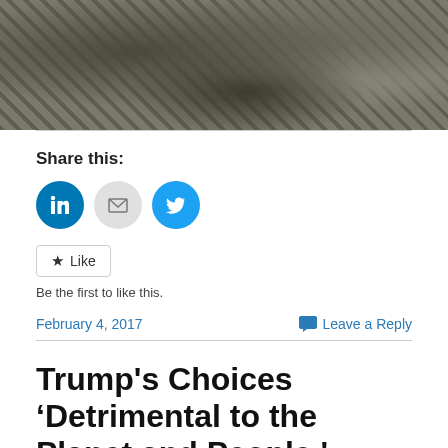[Figure (photo): Photograph of rocky terrain with military or outdoor camouflage gear, dark muted tones]
Share this:
[Figure (infographic): Social sharing icons: LinkedIn (blue circle), Email (gray circle), Twitter (blue circle)]
Like
Be the first to like this.
February 4, 2017
Leave a Reply
Trump's Choices ‘Detrimental to the Planet and People,'